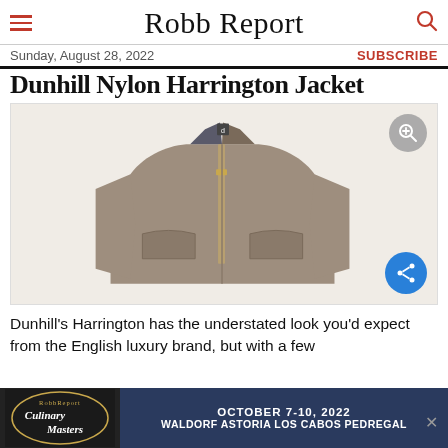Robb Report
Sunday, August 28, 2022
SUBSCRIBE
Dunhill Nylon Harrington Jacket
[Figure (photo): A tan/khaki Dunhill Nylon Harrington jacket displayed on a light background, showing a zip front, spread collar, and two hip pockets.]
Dunhill's Harrington has the understated look you'd expect from the English luxury brand, but with a few
[Figure (other): Advertisement banner for Robb Report Culinary Masters, October 7-10, 2022, Waldorf Astoria Los Cabos Pedregal]